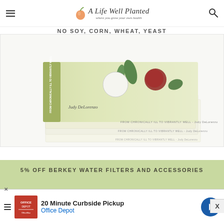A Life Well Planted — where you grow your own health
NO SOY, CORN, WHEAT, YEAST
[Figure (photo): Stack of multiple copies of a book titled 'From Chronically Ill to Vibrantly Well' by Judy DeLorenzo, with botanical illustration cover on light cream/green background]
5% OFF BERKEY WATER FILTERS AND ACCESSORIES
[Figure (photo): Berkey water filter stainless steel canister on white kitchen counter background]
[Figure (screenshot): Advertisement: 20 Minute Curbside Pickup - Office Depot, with red Office Depot logo and blue navigation arrow icon]